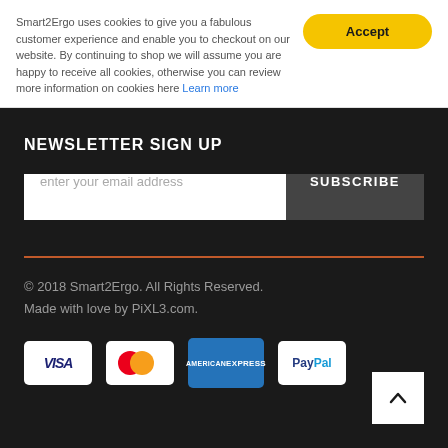Smart2Ergo uses cookies to give you a fabulous customer experience and enable you to checkout on our website. By continuing to shop we will assume you are happy to receive all cookies, otherwise you can review more information on cookies here Learn more
Accept
NEWSLETTER SIGN UP
enter your email address
SUBSCRIBE
© 2018 Smart2Ergo. All Rights Reserved.
Made with love by PiXL3.com.
[Figure (other): Payment method logos: Visa, Mastercard, American Express, PayPal]
[Figure (other): Back to top arrow button]